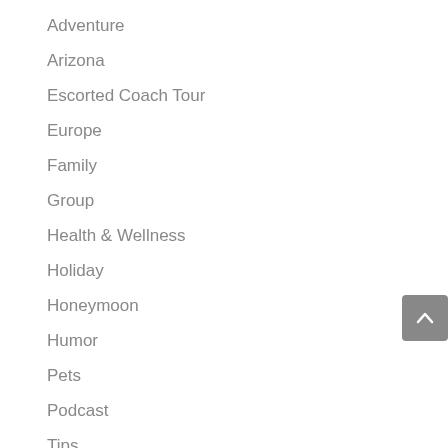Adventure
Arizona
Escorted Coach Tour
Europe
Family
Group
Health & Wellness
Holiday
Honeymoon
Humor
Pets
Podcast
Tips
Travel
Vacation